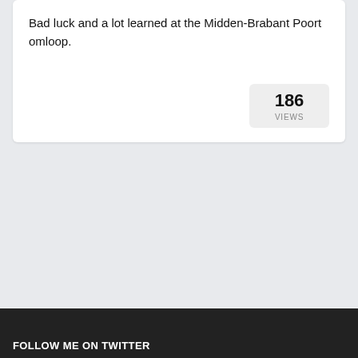Bad luck and a lot learned at the Midden-Brabant Poort omloop.
186 VIEWS
FOLLOW ME ON TWITTER